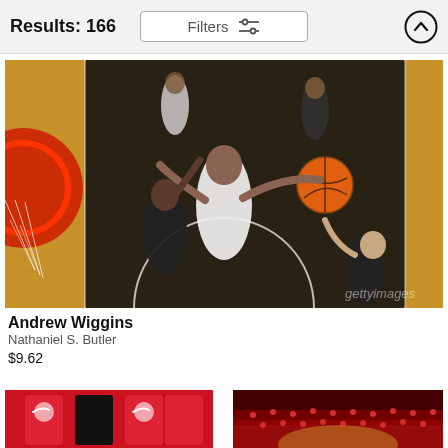Results: 166
[Figure (photo): Basketball game action shot from above showing Andrew Wiggins driving toward the basket with defenders around him, overhead view of court with red basketball hoop visible on left]
Andrew Wiggins
Nathaniel S. Butler
$9.62
[Figure (photo): Athletes wearing red and black Nike jerseys, group photo or merchandise display]
[Figure (photo): Basketball arena with crowd and court visible from elevated angle]